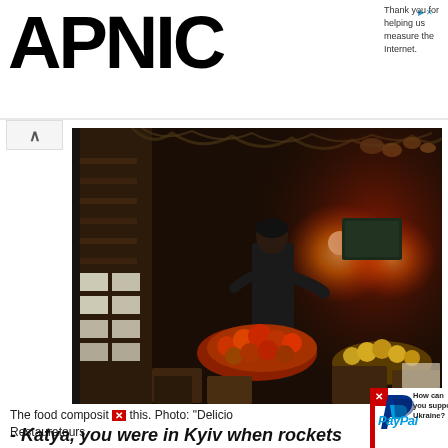APNIC
Thank you for helping us measure the Internet.
[Figure (photo): A person standing in a dimly lit market stall surrounded by piles of fruits and vegetables, with warm orange lighting and hanging dried herbs or garlands on the ceiling. Dark, atmospheric interior.]
The food composit this. Photo: "Delicio Restaurateurs
[Figure (logo): PayPal logo with blue P symbol and PayPal wordmark in blue. Red sidebar overlay with close X button. Text: How can you suppo Ukraine?]
- Katya, you were in Kyiv when rockets